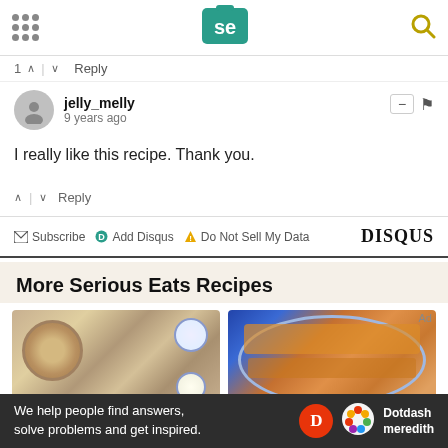Serious Eats header with logo and navigation
1 ∧ | ∨ Reply
jelly_melly
9 years ago
I really like this recipe. Thank you.
∧ | ∨ Reply
Subscribe  Add Disqus  Do Not Sell My Data   DISQUS
More Serious Eats Recipes
[Figure (photo): Two food photos side by side: left shows a bowl of rice/biryani dish with toppings and sides, right shows a cheesy baked dish on a plate with blue background]
We help people find answers, solve problems and get inspired.
[Figure (logo): Dotdash Meredith logo with red D circle and colorful flower icon]